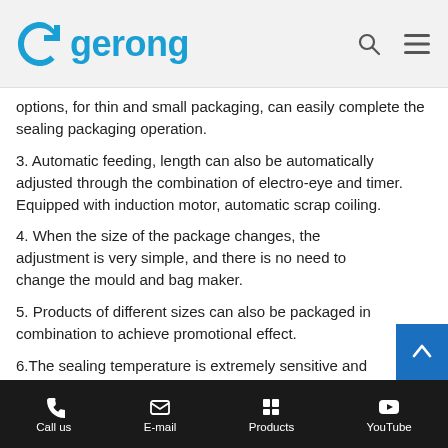gerong
options, for thin and small packaging, can easily complete the sealing packaging operation.
3. Automatic feeding, length can also be automatically adjusted through the combination of electro-eye and timer. Equipped with induction motor, automatic scrap coiling.
4. When the size of the package changes, the adjustment is very simple, and there is no need to change the mould and bag maker.
5. Products of different sizes can also be packaged in combination to achieve promotional effect.
6.The sealing temperature is extremely sensitive and accurate, and can be set at will. There is no need to worry
Call us  E-mail  Products  YouTube